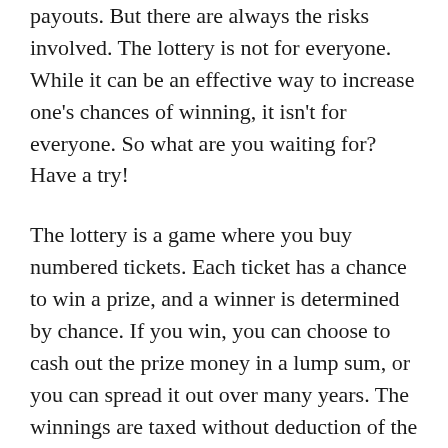payouts. But there are always the risks involved. The lottery is not for everyone. While it can be an effective way to increase one's chances of winning, it isn't for everyone. So what are you waiting for? Have a try!
The lottery is a game where you buy numbered tickets. Each ticket has a chance to win a prize, and a winner is determined by chance. If you win, you can choose to cash out the prize money in a lump sum, or you can spread it out over many years. The winnings are taxed without deduction of the lottery's losses. However, the money from a lottery is usually distributed to charities. And a...